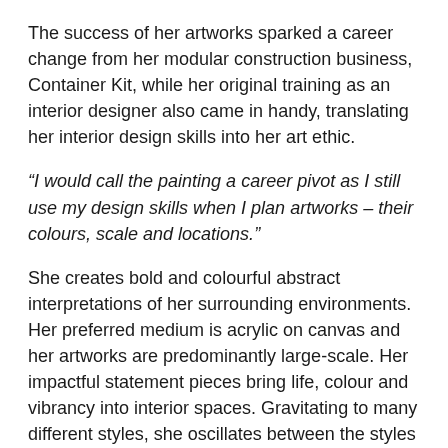The success of her artworks sparked a career change from her modular construction business, Container Kit, while her original training as an interior designer also came in handy, translating her interior design skills into her art ethic.
“I would call the painting a career pivot as I still use my design skills when I plan artworks – their colours, scale and locations.”
She creates bold and colourful abstract interpretations of her surrounding environments. Her preferred medium is acrylic on canvas and her artworks are predominantly large-scale. Her impactful statement pieces bring life, colour and vibrancy into interior spaces. Gravitating to many different styles, she oscillates between the styles of abstract expressionism and cubism, both executed with huge